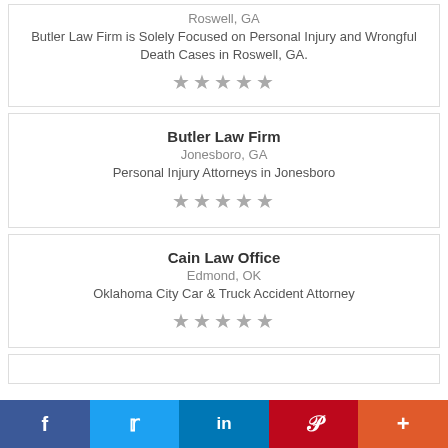Roswell, GA
Butler Law Firm is Solely Focused on Personal Injury and Wrongful Death Cases in Roswell, GA.
[Figure (other): 5 grey stars rating]
Butler Law Firm
Jonesboro, GA
Personal Injury Attorneys in Jonesboro
[Figure (other): 5 grey stars rating]
Cain Law Office
Edmond, OK
Oklahoma City Car & Truck Accident Attorney
[Figure (other): 5 grey stars rating]
f  Twitter  in  P  +